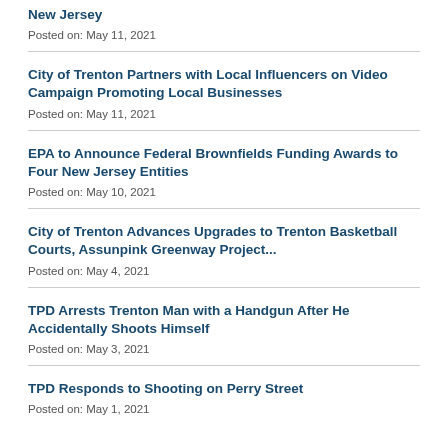New Jersey
Posted on: May 11, 2021
City of Trenton Partners with Local Influencers on Video Campaign Promoting Local Businesses
Posted on: May 11, 2021
EPA to Announce Federal Brownfields Funding Awards to Four New Jersey Entities
Posted on: May 10, 2021
City of Trenton Advances Upgrades to Trenton Basketball Courts, Assunpink Greenway Project...
Posted on: May 4, 2021
TPD Arrests Trenton Man with a Handgun After He Accidentally Shoots Himself
Posted on: May 3, 2021
TPD Responds to Shooting on Perry Street
Posted on: May 1, 2021